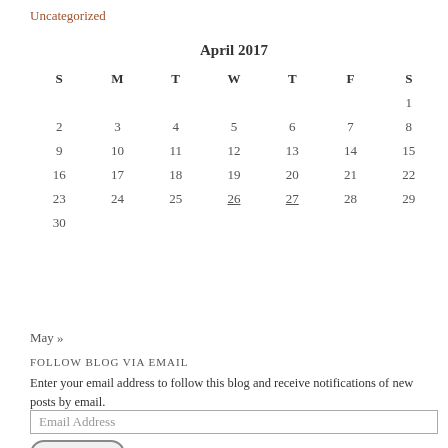Uncategorized
| S | M | T | W | T | F | S |
| --- | --- | --- | --- | --- | --- | --- |
|  |  |  |  |  |  | 1 |
| 2 | 3 | 4 | 5 | 6 | 7 | 8 |
| 9 | 10 | 11 | 12 | 13 | 14 | 15 |
| 16 | 17 | 18 | 19 | 20 | 21 | 22 |
| 23 | 24 | 25 | 26 | 27 | 28 | 29 |
| 30 |  |  |  |  |  |  |
May »
FOLLOW BLOG VIA EMAIL
Enter your email address to follow this blog and receive notifications of new posts by email.
Email Address
elsToday